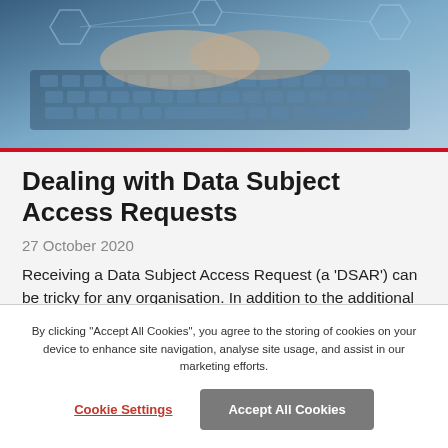[Figure (photo): Hands typing on a laptop keyboard with digital network/email overlay graphics in blue tones]
Dealing with Data Subject Access Requests
27 October 2020
Receiving a Data Subject Access Request (a 'DSAR') can be tricky for any organisation. In addition to the additional work created for overstretched IT, HR and data privacy personnel, the potentially thousands of documents that a DSAR can cover need to be analysed, redacted and reproduced for the data
By clicking "Accept All Cookies", you agree to the storing of cookies on your device to enhance site navigation, analyse site usage, and assist in our marketing efforts.
Cookie Settings
Accept All Cookies